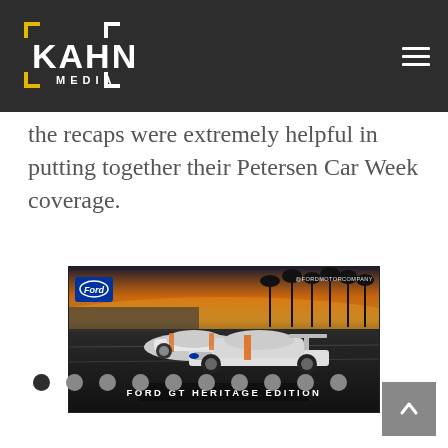KAHN MEDIA
the recaps were extremely helpful in putting together their Petersen Car Week coverage.
[Figure (photo): Ford GT Heritage Edition promotional photo showing two race cars on a track at sunset with palm trees in background and Ford Motor Company branding. Caption reads: FORD GT HERITAGE EDITION]